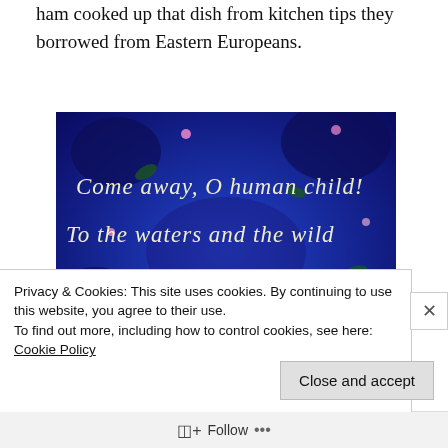ham cooked up that dish from kitchen tips they borrowed from Eastern Europeans.
[Figure (photo): Blue floral background painting with calligraphic white text reading: Come away, O human child! To the waters and the wild With a Faery, hand in hand For the world's more full of...]
Privacy & Cookies: This site uses cookies. By continuing to use this website, you agree to their use.
To find out more, including how to control cookies, see here: Cookie Policy
Close and accept
Follow